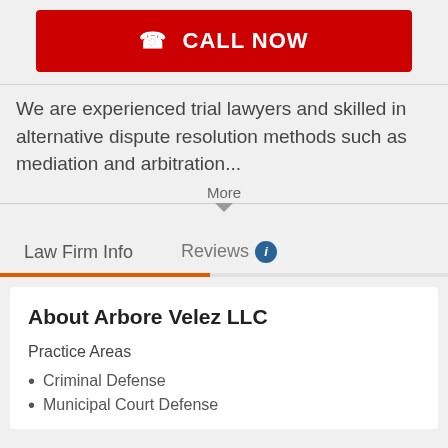[Figure (other): Red 'CALL NOW' button with phone icon]
We are experienced trial lawyers and skilled in alternative dispute resolution methods such as mediation and arbitration...
More
Law Firm Info
Reviews
About Arbore Velez LLC
Practice Areas
Criminal Defense
Municipal Court Defense